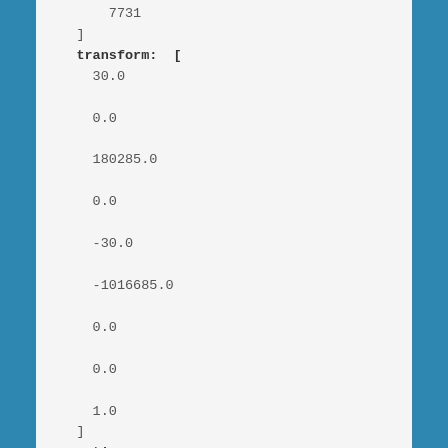7731
    ]
    transform:  [
      30.0
      0.0
      180285.0
      0.0
      -30.0
      -1016685.0
      0.0
      0.0
      1.0
    ]
properties:
  created: 2021-05-12T23:52:12.306492Z
  datetime: 1987-12-12T23:30:33.422038Z
  dea:dataset_maturity: final
  dtr:end_datetime: 1987-12-12T23:30:46.808402Z
  dtr:start_datetime: 1987-12-12T23:30:20.0